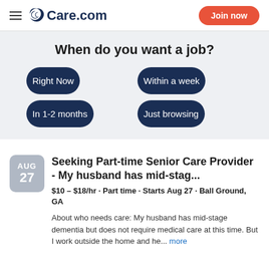Care.com | Join now
When do you want a job?
Right Now
Within a week
In 1-2 months
Just browsing
Seeking Part-time Senior Care Provider - My husband has mid-stag...
$10 – $18/hr • Part time • Starts Aug 27 • Ball Ground, GA
About who needs care: My husband has mid-stage dementia but does not require medical care at this time. But I work outside the home and he... more